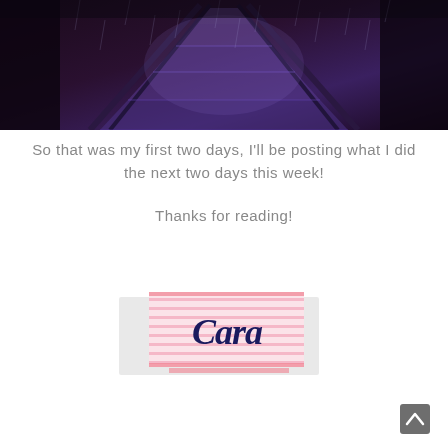[Figure (photo): Dark nighttime photograph of illuminated staircase with purple/blue lighting and rain]
So that was my first two days, I'll be posting what I did the next two days this week!
Thanks for reading!
[Figure (illustration): Blog signature graphic with pink horizontal stripes and cursive text reading 'Cara' in dark navy blue]